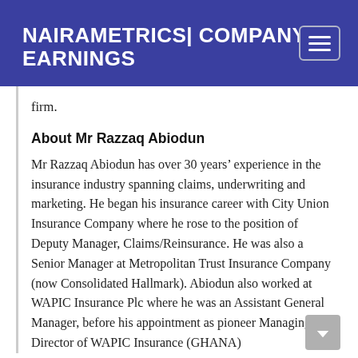NAIRAMETRICS| COMPANY EARNINGS
firm.
About Mr Razzaq Abiodun
Mr Razzaq Abiodun has over 30 years’ experience in the insurance industry spanning claims, underwriting and marketing. He began his insurance career with City Union Insurance Company where he rose to the position of Deputy Manager, Claims/Reinsurance. He was also a Senior Manager at Metropolitan Trust Insurance Company (now Consolidated Hallmark). Abiodun also worked at WAPIC Insurance Plc where he was an Assistant General Manager, before his appointment as pioneer Managing Director of WAPIC Insurance (GHANA)